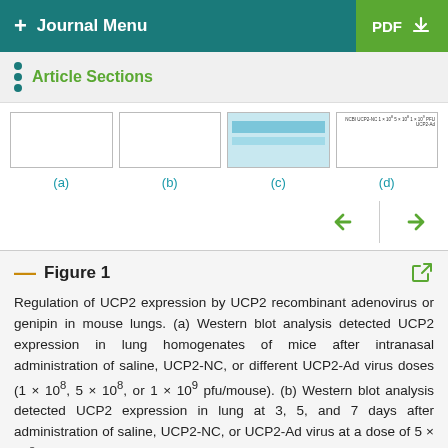+ Journal Menu | PDF
Article Sections
[Figure (photo): Four-panel figure showing Western blot and immunohistochemical images labeled (a), (b), (c), (d)]
(a)  (b)  (c)  (d)
Figure 1
Regulation of UCP2 expression by UCP2 recombinant adenovirus or genipin in mouse lungs. (a) Western blot analysis detected UCP2 expression in lung homogenates of mice after intranasal administration of saline, UCP2-NC, or different UCP2-Ad virus doses (1 × 10⁸, 5 × 10⁸, or 1 × 10⁹ pfu/mouse). (b) Western blot analysis detected UCP2 expression in lung at 3, 5, and 7 days after administration of saline, UCP2-NC, or UCP2-Ad virus at a dose of 5 × 10⁸ pfu/mouse. (c) Immunohistochemical analysis of UCP2 overexpression with an